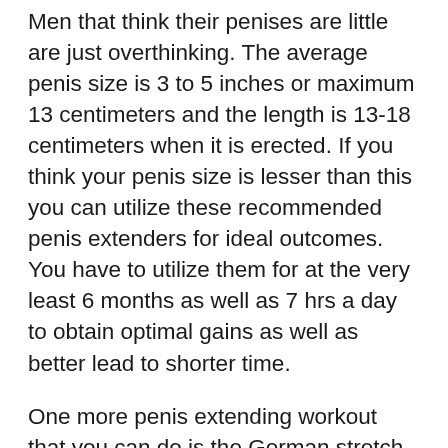Men that think their penises are little are just overthinking. The average penis size is 3 to 5 inches or maximum 13 centimeters and the length is 13-18 centimeters when it is erected. If you think your penis size is lesser than this you can utilize these recommended penis extenders for ideal outcomes. You have to utilize them for at the very least 6 months as well as 7 hrs a day to obtain optimal gains as well as better lead to shorter time.
One more penis extending workout that you can do is the German stretch. This is done by stretching your penis head up and down using just your two forefinger. Make certain that you do this for around 10 secs and then repeat for another 10 seconds.